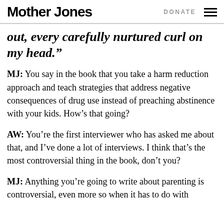Mother Jones | DONATE
out, every carefully nurtured curl on my head.”
MJ: You say in the book that you take a harm reduction approach and teach strategies that address negative consequences of drug use instead of preaching abstinence with your kids. How’s that going?
AW: You’re the first interviewer who has asked me about that, and I’ve done a lot of interviews. I think that’s the most controversial thing in the book, don’t you?
MJ: Anything you’re going to write about parenting is controversial, even more so when it has to do with